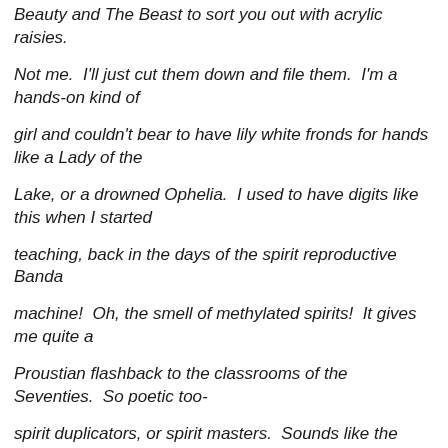Beauty and The Beast to sort you out with acrylic raisies.
Not me.  I'll just cut them down and file them.  I'm a hands-on kind of
girl and couldn't bear to have lily white fronds for hands like a Lady of the
Lake, or a drowned Ophelia.  I used to have digits like this when I started
teaching, back in the days of the spirit reproductive Banda
machine!  Oh, the smell of methylated spirits!  It gives me quite a
Proustian flashback to the classrooms of the Seventies.  So poetic too-
spirit duplicators, or spirit masters.  Sounds like the muse